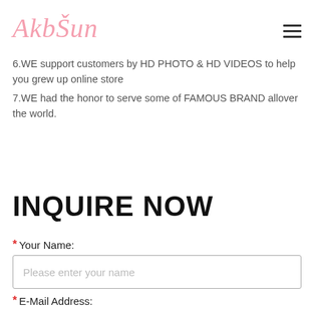[Figure (logo): AkbSun brand logo in pink cursive script]
6.WE support customers by HD PHOTO & HD VIDEOS to help you grew up online store
7.WE had the honor to serve some of FAMOUS BRAND allover the world.
INQUIRE NOW
* Your Name:
Please enter your name
* E-Mail Address: